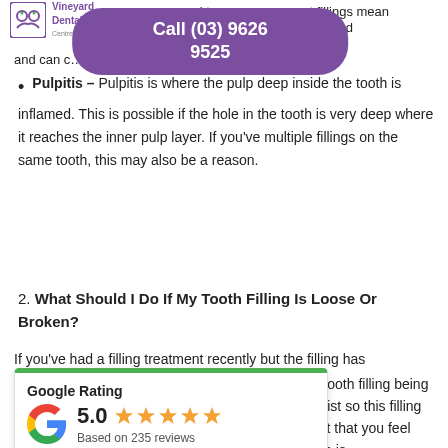Vineyard Dental Chat Centre & Exceptional Care
enamel t... t fillings mean that th... be touched and can c... ation.
Pulpitis – Pulpitis is where the pulp deep inside the tooth is inflamed. This is possible if the hole in the tooth is very deep where it reaches the inner pulp layer. If you've multiple fillings on the same tooth, this may also be a reason.
2. What Should I Do If My Tooth Filling Is Loose Or Broken?
If you've had a filling treatment recently but the filling has ... the tooth filling being ... dentist so this filling can ... point that you feel there is ... get checked in for an appointment.
[Figure (other): Google Rating card showing 5.0 stars based on 235 reviews]